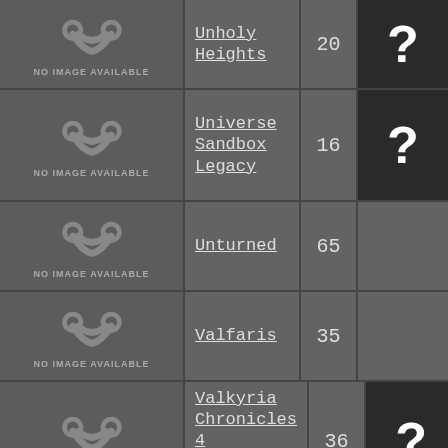| Thumbnail | Game Name | Count | Badge |
| --- | --- | --- | --- |
| NO IMAGE AVAILABLE | Unholy Heights | 20 | ? |
| NO IMAGE AVAILABLE | Universe Sandbox Legacy | 16 | ? |
| NO IMAGE AVAILABLE | Unturned | 65 |  |
| NO IMAGE AVAILABLE | Valfaris | 35 |  |
| NO IMAGE AVAILABLE | Valkyria Chronicles 4 Complete Edition | 36 | ? |
| NO IMAGE AVAILABLE | Vall... | ... | ? |